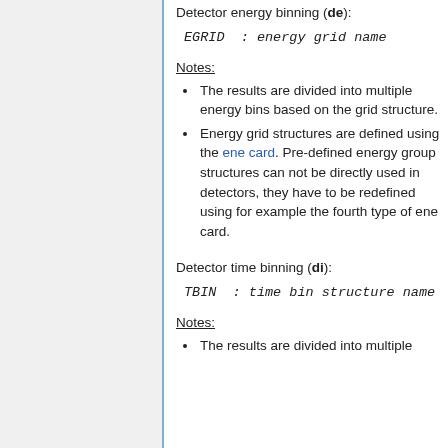Detector energy binning (de):
EGRID  : energy grid name
Notes:
The results are divided into multiple energy bins based on the grid structure.
Energy grid structures are defined using the ene card. Pre-defined energy group structures can not be directly used in detectors, they have to be redefined using for example the fourth type of ene card.
Detector time binning (di):
TBIN  : time bin structure name
Notes:
The results are divided into multiple time bins...